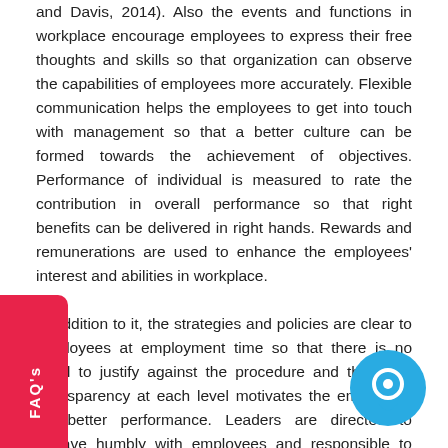and Davis, 2014). Also the events and functions in workplace encourage employees to express their free thoughts and skills so that organization can observe the capabilities of employees more accurately. Flexible communication helps the employees to get into touch with management so that a better culture can be formed towards the achievement of objectives. Performance of individual is measured to rate the contribution in overall performance so that right benefits can be delivered in right hands. Rewards and remunerations are used to enhance the employees' interest and abilities in workplace. In addition to it, the strategies and policies are clear to employees at employment time so that there is no need to justify against the procedure and the laws. Transparency at each level motivates the employees for better performance. Leaders are directed to behave humbly with employees and responsible to answer the queries and troubles in work. Attractive and effective group norms require the consistency in presence in workplace, integrity in work, and trust among the employees (Eccles.et.al.2012). As a result, the